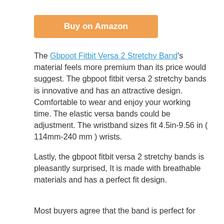[Figure (other): Partial product images at top of page]
Buy on Amazon
The Gbpoot Fitbit Versa 2 Stretchy Band's material feels more premium than its price would suggest. The gbpoot fitbit versa 2 stretchy bands is innovative and has an attractive design. Comfortable to wear and enjoy your working time. The elastic versa bands could be adjustment. The wristband sizes fit 4.5in-9.56 in ( 114mm-240 mm ) wrists.
Lastly, the gbpoot fitbit versa 2 stretchy bands is pleasantly surprised, It is made with breathable materials and has a perfect fit design.
Most buyers agree that the band is perfect for